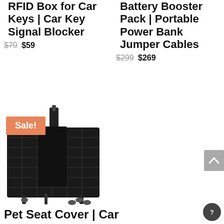RFID Box for Car Keys | Car Key Signal Blocker
$79 $59
Battery Booster Pack | Portable Power Bank Jumper Cables
$299 $269
[Figure (photo): Black pet seat cover for car, laid flat showing quilted material, straps, and headrest attachments. Has a 'Sale!' badge overlay in orange.]
Pet Seat Cover | Car